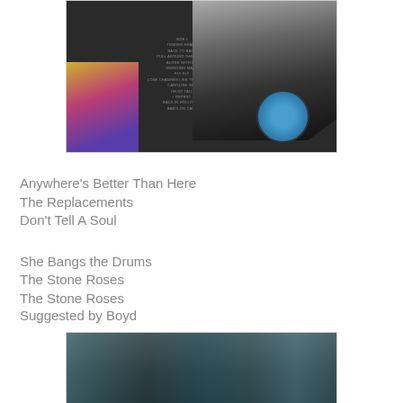[Figure (photo): Photo of vinyl record albums showing a black and white photograph on a record sleeve with tracklist text visible, colorful album art on the left, and a blue vinyl label on a black record]
Anywhere's Better Than Here
The Replacements
Don't Tell A Soul
She Bangs the Drums
The Stone Roses
The Stone Roses
Suggested by Boyd
[Figure (photo): Photo of what appears to be a damaged or worn record player or music equipment with clear/translucent components visible against a dark background]